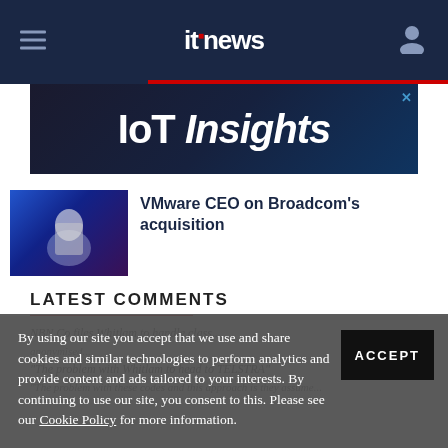itnews
[Figure (photo): IoT Insights advertisement banner]
[Figure (photo): VMware CEO speaking on stage at an event]
VMware CEO on Broadcom's acquisition
LATEST COMMENTS
By using our site you accept that we use and share cookies and similar technologies to perform analytics and provide content and ads tailored to your interests. By continuing to use our site, you consent to this. Please see our Cookie Policy for more information.